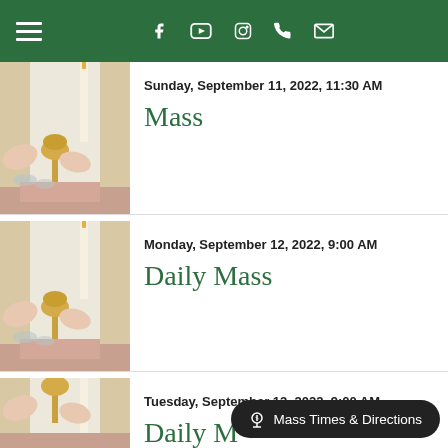Navigation header with hamburger menu and social icons: Facebook, YouTube, Instagram, Phone, Email
[Figure (photo): Church communion photo showing hands holding a chalice with candles]
Sunday, September 11, 2022, 11:30 AM
Mass
[Figure (photo): Church communion photo showing hands holding a chalice with candles]
Monday, September 12, 2022, 9:00 AM
Daily Mass
[Figure (photo): Church communion photo showing hands holding a chalice with candles]
Tuesday, September 13, 2022, 9:00 AM
Daily Mass
Mass Times & Directions